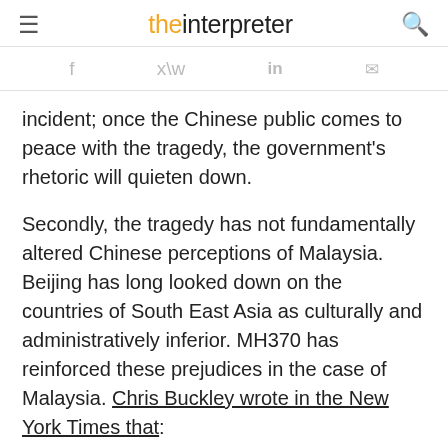the interpreter
incident; once the Chinese public comes to peace with the tragedy, the government's rhetoric will quieten down.
Secondly, the tragedy has not fundamentally altered Chinese perceptions of Malaysia. Beijing has long looked down on the countries of South East Asia as culturally and administratively inferior. MH370 has reinforced these prejudices in the case of Malaysia. Chris Buckley wrote in the New York Times that:
That sense of frustration and anger...